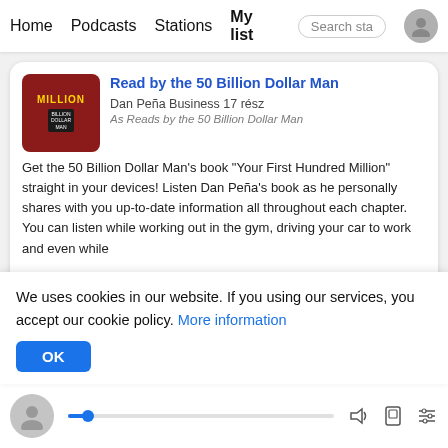Home   Podcasts   Stations   My list   Search sta
[Figure (screenshot): Podcast card for 'Read by the 50 Billion Dollar Man' - Dan Peña Business 17 rész with thumbnail showing MILLION in gold on red background]
Get the 50 Billion Dollar Man's book "Your First Hundred Million" straight in your devices! Listen Dan Peña's book as he personally shares with you up-to-date information all throughout each chapter. You can listen while working out in the gym, driving your car to work and even while
Subscribe   Episodes
[Figure (screenshot): Podcast card for 'Xceptional Leaders with Mai Ling' with grey thumbnail]
We uses cookies in our website. If you using our services, you accept our cookie policy. More information
OK
Learn from disability-focused leaders about high profile
[Figure (screenshot): Audio player bar at bottom with avatar, progress bar, and control icons]